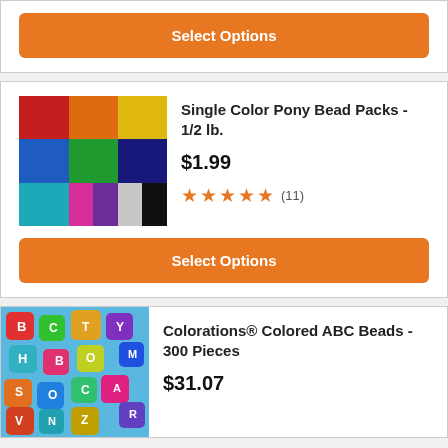[Figure (screenshot): Orange 'Select Options' button at the top of the page (partial product card)]
[Figure (photo): Colorful single-color pony beads arranged in a grid of color squares]
Single Color Pony Bead Packs - 1/2 lb.
$1.99
★★★★★ (11)
[Figure (screenshot): Orange 'Select Options' button]
[Figure (photo): Colorful ABC letter beads jumbled together]
Colorations® Colored ABC Beads - 300 Pieces
$31.07